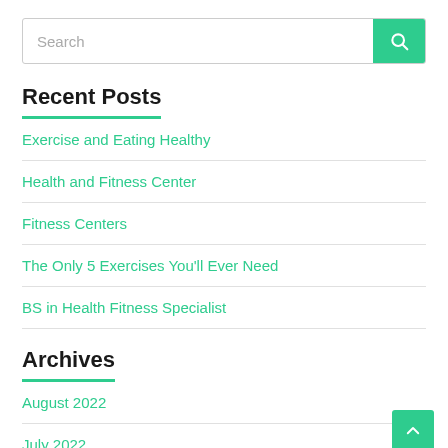[Figure (other): Search bar with text input placeholder 'Search' and green search button with magnifying glass icon]
Recent Posts
Exercise and Eating Healthy
Health and Fitness Center
Fitness Centers
The Only 5 Exercises You'll Ever Need
BS in Health Fitness Specialist
Archives
August 2022
July 2022